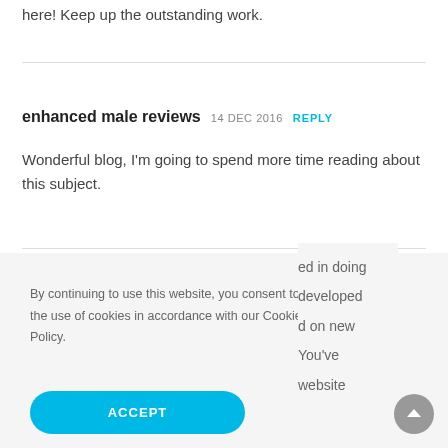here! Keep up the outstanding work.
enhanced male reviews  14 DEC 2016  REPLY
Wonderful blog, I'm going to spend more time reading about this subject.
By continuing to use this website, you consent to the use of cookies in accordance with our Cookie Policy.
ACCEPT
ed in doing developed d on new You've website